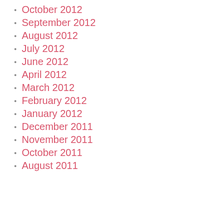October 2012
September 2012
August 2012
July 2012
June 2012
April 2012
March 2012
February 2012
January 2012
December 2011
November 2011
October 2011
August 2011